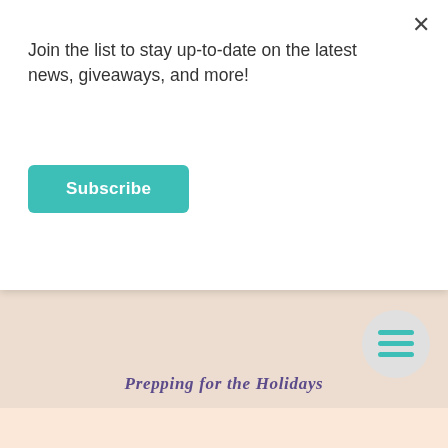Join the list to stay up-to-date on the latest news, giveaways, and more!
Subscribe
[Figure (illustration): Dark circular icon containing a white speech bubble with horizontal lines representing text, on a light gray background]
[Figure (illustration): Light gray circle with teal hamburger menu icon (three horizontal lines)]
Prepping for the Holidays